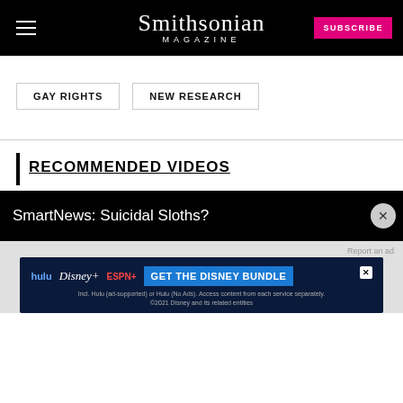Smithsonian Magazine
GAY RIGHTS
NEW RESEARCH
RECOMMENDED VIDEOS
SmartNews: Suicidal Sloths?
[Figure (other): Disney Bundle advertisement banner with Hulu, Disney+, ESPN+ logos and 'GET THE DISNEY BUNDLE' call to action button]
Incl. Hulu (ad-supported) or Hulu (No Ads). Access content from each service separately. ©2021 Disney and its related entities